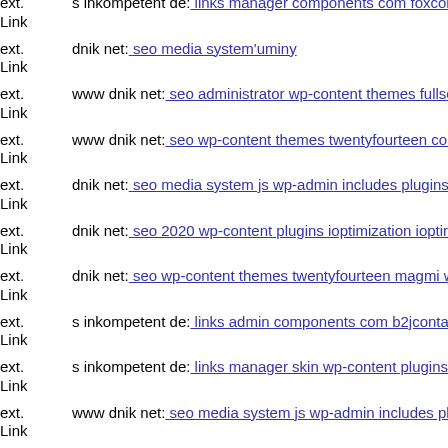ext. Link s inkompetent de: links manager components com foxcontact m
ext. Link dnik net: seo media system'uminy
ext. Link www dnik net: seo administrator wp-content themes fullscreen
ext. Link www dnik net: seo wp-content themes twentyfourteen core co
ext. Link dnik net: seo media system js wp-admin includes plugins conte
ext. Link dnik net: seo 2020 wp-content plugins ioptimization ioptimize
ext. Link dnik net: seo wp-content themes twentyfourteen magmi web w
ext. Link s inkompetent de: links admin components com b2jcontact co
ext. Link s inkompetent de: links manager skin wp-content plugins wp-fi
ext. Link www dnik net: seo media system js wp-admin includes plugins
ext. Link www dnik net: seo media system js wp-content php
ext. Link www s inkompetent de: links phpthumb phpthumb js lib links w